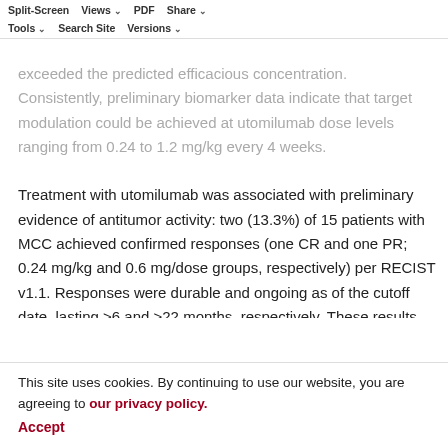Split-Screen  Views  PDF  Share  Tools  Search Site  Versions
exceeded the predicted efficacious concentration. Consistently, preliminary biomarker data indicate that target modulation could be achieved at utomilumab dose levels ranging from 0.24 to 1.2 mg/kg every 4 weeks.

Treatment with utomilumab was associated with preliminary evidence of antitumor activity: two (13.3%) of 15 patients with MCC achieved confirmed responses (one CR and one PR; 0.24 mg/kg and 0.6 mg/dose groups, respectively) per RECIST v1.1. Responses were durable and ongoing as of the cutoff date, lasting >6 and >22 months, respectively. These results appear promising in view of the aggressive nature of MCC and poor outcomes ... subsequently on novel antitumor immunotherapy therapies, as demonstrated by PD-1/PD-L1 blockers in a proportion of
This site uses cookies. By continuing to use our website, you are agreeing to our privacy policy.
Accept